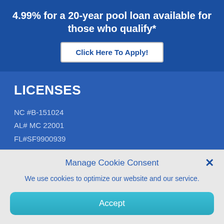4.99% for a 20-year pool loan available for those who qualify*
Click Here To Apply!
LICENSES
NC #B-151024
AL# MC 22001
FL#SF9900939
SC# 0635438
NC Branch ID: 1446463
Manage Cookie Consent
We use cookies to optimize our website and our service.
Accept